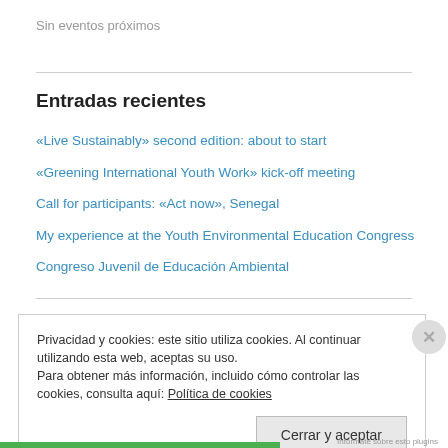Sin eventos próximos
Entradas recientes
«Live Sustainably» second edition: about to start
«Greening International Youth Work» kick-off meeting
Call for participants: «Act now», Senegal
My experience at the Youth Environmental Education Congress
Congreso Juvenil de Educación Ambiental
Privacidad y cookies: este sitio utiliza cookies. Al continuar utilizando esta web, aceptas su uso.
Para obtener más información, incluido cómo controlar las cookies, consulta aquí: Política de cookies
Cerrar y aceptar